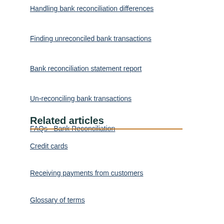Handling bank reconciliation differences
Finding unreconciled bank transactions
Bank reconciliation statement report
Un-reconciling bank transactions
FAQs - Bank Reconciliation
Related articles
Credit cards
Receiving payments from customers
Glossary of terms
Troubleshooting the VAT return
Marking purchases as paid